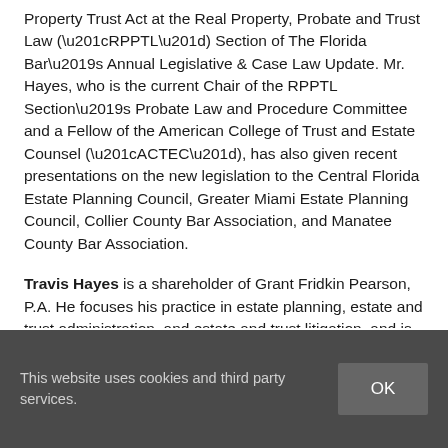Property Trust Act at the Real Property, Probate and Trust Law (“RPPTL”) Section of The Florida Bar’s Annual Legislative & Case Law Update.  Mr. Hayes, who is the current Chair of the RPPTL Section’s Probate Law and Procedure Committee and a Fellow of the American College of Trust and Estate Counsel (“ACTEC”), has also given recent presentations on the new legislation to the Central Florida Estate Planning Council, Greater Miami Estate Planning Council, Collier County Bar Association, and Manatee County Bar Association.
Travis Hayes is a shareholder of Grant Fridkin Pearson, P.A. He focuses his practice in estate planning, estate and trust administration, and estate and trust litigation, and is a frequent speaker and author on estate planning and estate and trust administration topics. Travis is the current President of the Collier County Bar Association, and is a Fellow of the American College of Trust and Estate Counsel (“ACTEC”).  He also is a member of the
This website uses cookies and third party services.